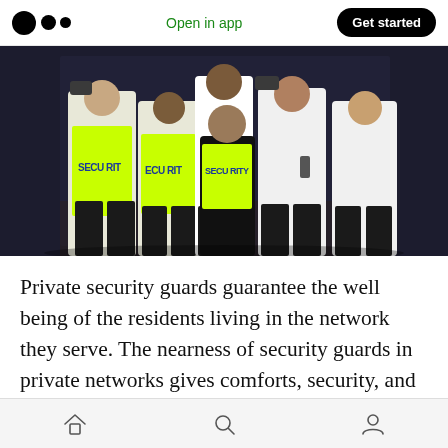Open in app   Get started
[Figure (photo): Group of six security guards posing together at night. Three are wearing yellow/green high-visibility vests with 'SECURITY' printed on them, and three are wearing white uniform shirts. They appear to be standing outside a building.]
Private security guards guarantee the well being of the residents living in the network they serve. The nearness of security guards in private networks gives comforts, security, and feeling of
Home  Search  Profile